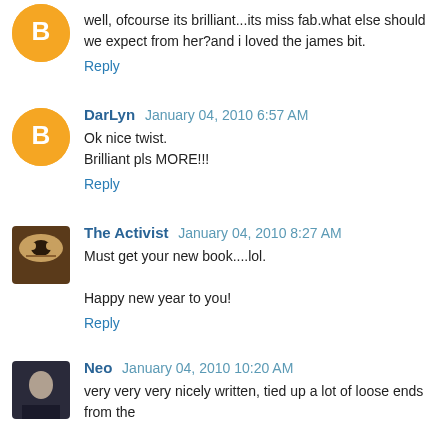well, ofcourse its brilliant...its miss fab.what else should we expect from her?and i loved the james bit.
Reply
DarLyn  January 04, 2010 6:57 AM
Ok nice twist.
Brilliant pls MORE!!!
Reply
The Activist  January 04, 2010 8:27 AM
Must get your new book....lol.

Happy new year to you!
Reply
Neo  January 04, 2010 10:20 AM
very very very nicely written, tied up a lot of loose ends from the